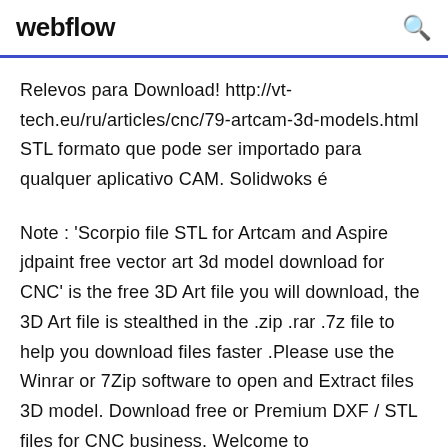webflow
Relevos para Download! http://vt-tech.eu/ru/articles/cnc/79-artcam-3d-models.html STL formato que pode ser importado para qualquer aplicativo CAM. Solidwoks é
Note : 'Scorpio file STL for Artcam and Aspire jdpaint free vector art 3d model download for CNC' is the free 3D Art file you will download, the 3D Art file is stealthed in the .zip .rar .7z file to help you download files faster .Please use the Winrar or 7Zip software to open and Extract files 3D model. Download free or Premium DXF / STL files for CNC business. Welcome to CNC...